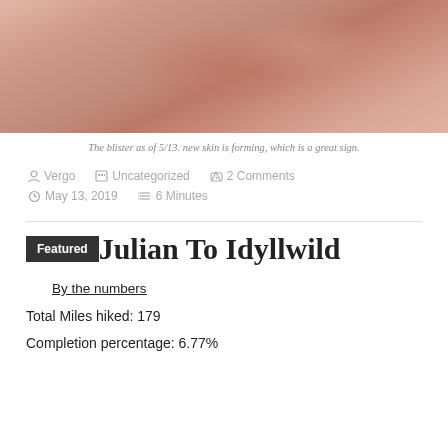[Figure (photo): Close-up photo of a blister on skin showing new skin forming, with a warm pinkish-red tone.]
The blister as of 5/13. new skin is forming, which is a great sign.
Vergo  Uncategorized  2 Comments  May 13, 2019  6 Minutes
Julian To Idyllwild
By the numbers
Total Miles hiked: 179
Completion percentage: 6.77%